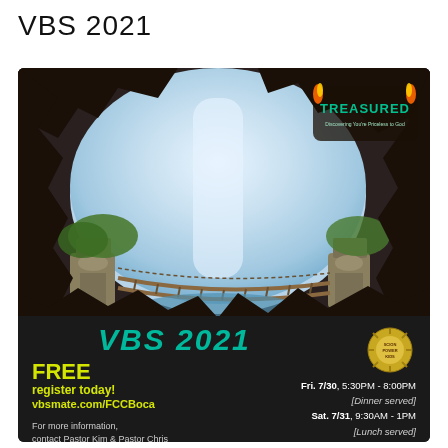VBS 2021
[Figure (illustration): VBS 2021 event flyer with a cave opening view showing a rope bridge over water with ancient ruins, a 'TREASURED' logo in top right, dark rocky cave borders. Bottom section shows event details on dark background: VBS 2021 in teal, FREE register today in yellow, vbsmate.com/FCCBoca, schedule for Fri 7/30 and Sat 7/31, and Scion Power Kids logo.]
FREE
register today!
vbsmate.com/FCCBoca
For more information, contact Pastor Kim & Pastor Chris
Fri. 7/30, 5:30PM - 8:00PM [Dinner served] Sat. 7/31, 9:30AM - 1PM [Lunch served]